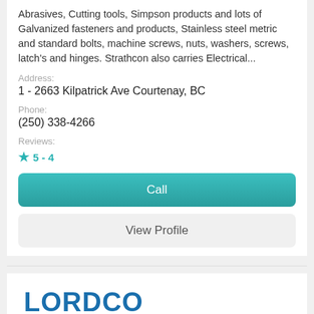Abrasives, Cutting tools, Simpson products and lots of Galvanized fasteners and products, Stainless steel metric and standard bolts, machine screws, nuts, washers, screws, latch's and hinges. Strathcon also carries Electrical...
Address:
1 - 2663 Kilpatrick Ave Courtenay, BC
Phone:
(250) 338-4266
Reviews:
★ 5 - 4
Call
View Profile
[Figure (logo): Lordco Auto Parts logo with blue text and double-line underline decoration]
Lordco Parts Ltd